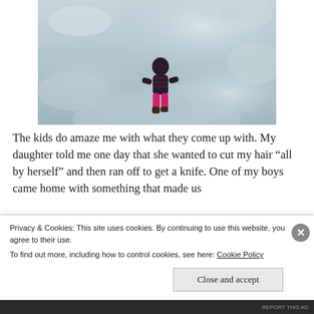[Figure (photo): A child in a pink jacket and dark top kneeling or climbing in a deep snowbank outdoors]
The kids do amaze me with what they come up with.  My daughter told me one day that she wanted to cut my hair “all by herself” and then ran off to get a knife.  One of my boys came home with something that made us
Privacy & Cookies: This site uses cookies. By continuing to use this website, you agree to their use.
To find out more, including how to control cookies, see here: Cookie Policy
Close and accept